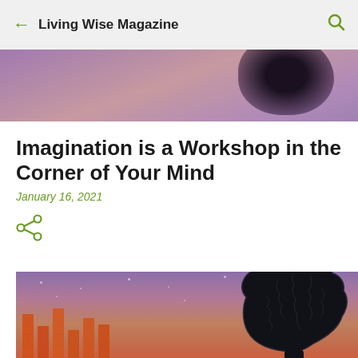Living Wise Magazine
[Figure (illustration): Purple and pink gradient sky background with a dark blurred blob shape in the upper right, serving as hero image for the article]
Imagination is a Workshop in the Corner of Your Mind
January 16, 2021
[Figure (illustration): Share icon (network/share symbol) in olive green]
[Figure (illustration): Illustrated night-sky scene with purple-to-orange gradient sky, small stars, orange vertical bars at the bottom, and a large black silhouette of a human brain on the right side]